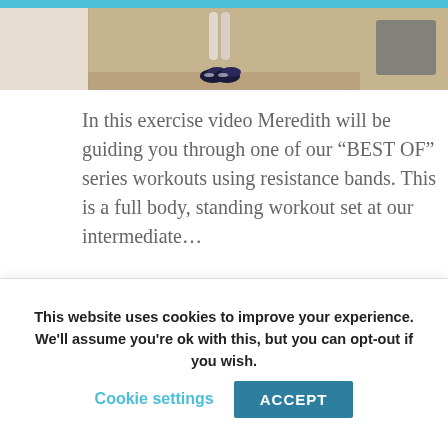[Figure (photo): Cropped photo showing a person's legs and sneakers jumping or standing on a mat/rug, with a light-colored wall on the left and exercise equipment on the right. Teal/cyan bar at top.]
In this exercise video Meredith will be guiding you through one of our “BEST OF” series workouts using resistance bands. This is a full body, standing workout set at our intermediate…
THE BEST SEATED
This website uses cookies to improve your experience. We'll assume you're ok with this, but you can opt-out if you wish. Cookie settings ACCEPT